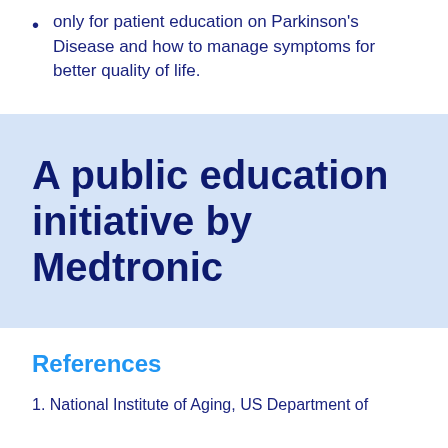only for patient education on Parkinson's Disease and how to manage symptoms for better quality of life.
A public education initiative by Medtronic
References
1. National Institute of Aging, US Department of